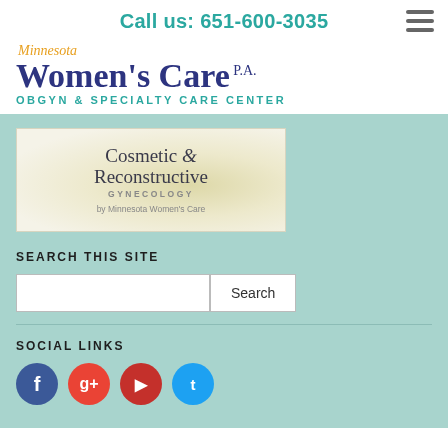Call us: 651-600-3035
[Figure (logo): Minnesota Women's Care P.A. OBGYN & Specialty Care Center logo]
[Figure (logo): Cosmetic & Reconstructive Gynecology by Minnesota Women's Care banner]
SEARCH THIS SITE
SOCIAL LINKS